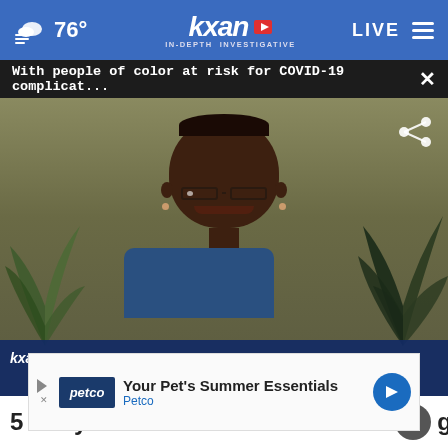76° | KXAN IN-DEPTH INVESTIGATIVE | LIVE
With people of color at risk for COVID-19 complicat... ×
[Figure (screenshot): Video screenshot of Dr. Jewel Mullen, a Black woman with short gray hair and glasses, wearing a blue top, speaking. Lower third shows KXAN logo, DR. JEWEL MULLEN, DELL MEDICAL SCHOOL ASSOCIATE DEAN FOR HEALTH EQUITY]
5  Why Austin sees more diverted ghts
[Figure (other): Close button circle with X overlay on headline text]
[Figure (other): Advertisement banner: Petco - Your Pet's Summer Essentials with petco logo and navigation arrow icon]